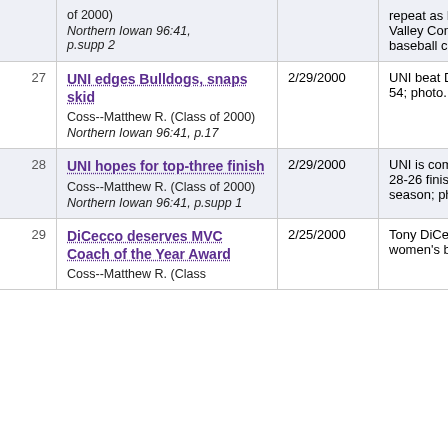| # | Title / Byline / Citation | Date | Description |
| --- | --- | --- | --- |
|  | of 2000)
Northern Iowan 96:41, p.supp 2 |  | repeat as Missouri Valley Conference baseball champion. |
| 27 | UNI edges Bulldogs, snaps skid
Coss--Matthew R. (Class of 2000)
Northern Iowan 96:41, p.17 | 2/29/2000 | UNI beat Drake, 56-54; photo. |
| 28 | UNI hopes for top-three finish
Coss--Matthew R. (Class of 2000)
Northern Iowan 96:41, p.supp 1 | 2/29/2000 | UNI is coming off a 28-26 finish from last season; photo. |
| 29 | DiCecco deserves MVC Coach of the Year Award
Coss--Matthew R. (Class... | 2/25/2000 | Tony DiCecco, UNI's women's basketball |